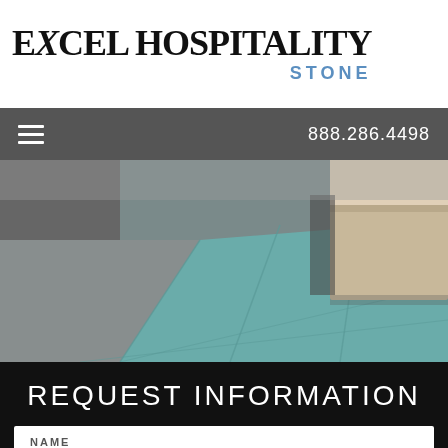[Figure (logo): Excel Hospitality Stone logo with large serif text and blue 'STONE' subtitle]
888.286.4498
[Figure (photo): Interior hotel or hospitality space with tiled floor in grey and teal/blue colors, showing a counter or desk area]
REQUEST INFORMATION
NAME
PHONE